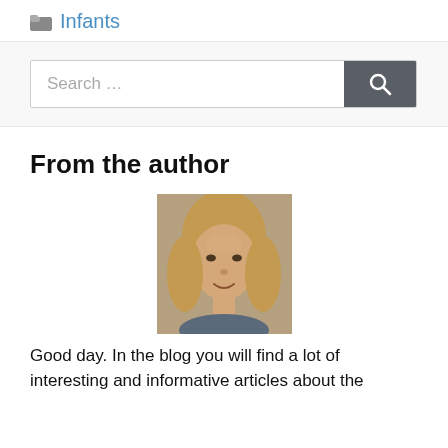Infants
[Figure (other): Search bar with text input field showing 'Search ...' placeholder and a dark grey search button with magnifying glass icon]
From the author
[Figure (photo): Headshot photo of a woman with long blonde hair, smiling, outdoor background]
Good day. In the blog you will find a lot of interesting and informative articles about the